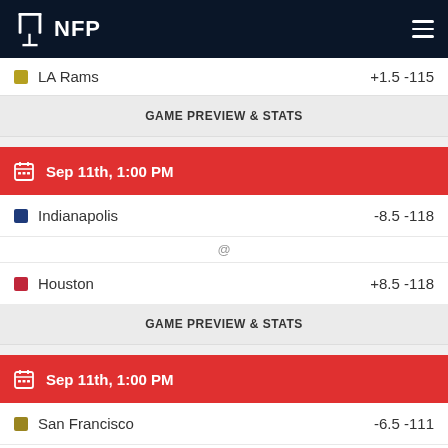NFP
LA Rams  +1.5 -115
GAME PREVIEW & STATS
Sep 11th, 1:00 PM
Indianapolis  -8.5 -118
Houston  +8.5 -118
GAME PREVIEW & STATS
Sep 11th, 1:00 PM
San Francisco  -6.5 -111
Chicago  +6.5 -111